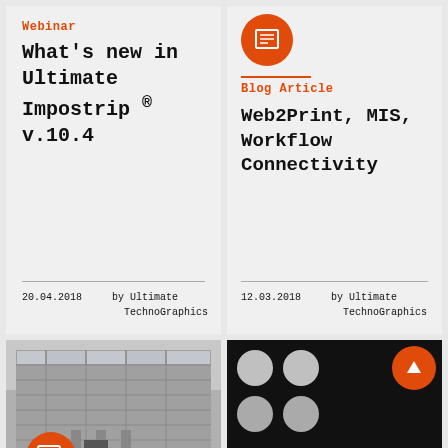Webinar
What's new in Ultimate Impostrip ® v.10.4
20.04.2018     by Ultimate TechnoGraphics
[Figure (illustration): Orange circle icon with document/lines symbol]
Blog Article
Web2Print, MIS, Workflow Connectivity
12.03.2018     by Ultimate TechnoGraphics
[Figure (photo): Black and white photo of a building exterior with glass facade; orange circle with quote/chat icon overlay at bottom-left]
[Figure (photo): Dark background with four white/grey circles arranged in 2x2 grid; orange circle with up-arrow icon at top-right; partial text at bottom]